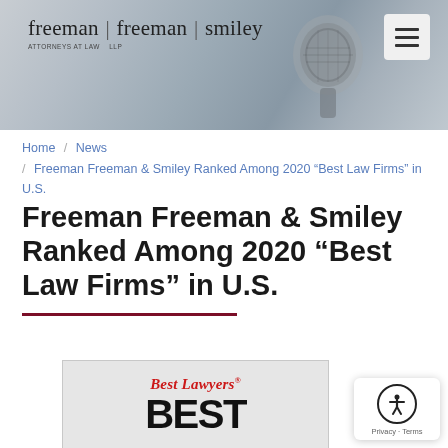freeman | freeman | smiley — navigation header with microphone background image
Home / News / Freeman Freeman & Smiley Ranked Among 2020 "Best Law Firms" in U.S.
Freeman Freeman & Smiley Ranked Among 2020 “Best Law Firms” in U.S.
[Figure (logo): Best Lawyers Best Law Firms badge logo showing 'Best Lawyers' in red italic serif text and 'BEST' in large black bold sans-serif text]